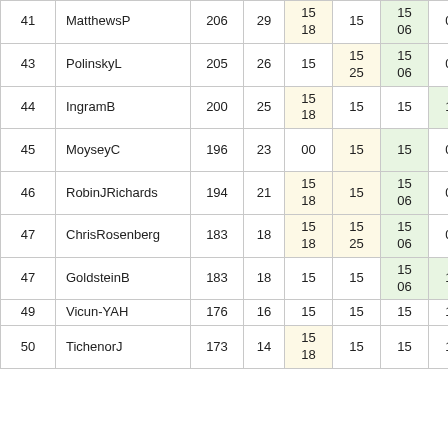| # | Name | Pts | W | R1 | R2 | R3 | R4 | R5 | R6 |
| --- | --- | --- | --- | --- | --- | --- | --- | --- | --- |
| 41 | MatthewsP | 206 | 29 | 15
18 | 15 | 15
06 | 00 | 15
18 | 1 |
| 43 | PolinskyL | 205 | 26 | 15 | 15
25 | 15
06 | 00 | 15
18 | 1 |
| 44 | IngramB | 200 | 25 | 15
18 | 15 | 15 | 15 | 00
00 | 1 |
| 45 | MoyseyC | 196 | 23 | 00 | 15 | 15 | 00 | 15
18 | 1
C |
| 46 | RobinJRichards | 194 | 21 | 15
18 | 15 | 15
06 | 00 | 00 | 1
C |
| 47 | ChrisRosenberg | 183 | 18 | 15
18 | 15
25 | 15
06 | 00 | 15 | C |
| 47 | GoldsteinB | 183 | 18 | 15 | 15 | 15
06 | 15 | 15
18 | 1
C |
| 49 | Vicun-YAH | 176 | 16 | 15 | 15 | 15 | 15 | 15 | 1 |
| 50 | TichenorJ | 173 | 14 | 15
18 | 15 | 15 | 15 | 15
18 | 1
C |